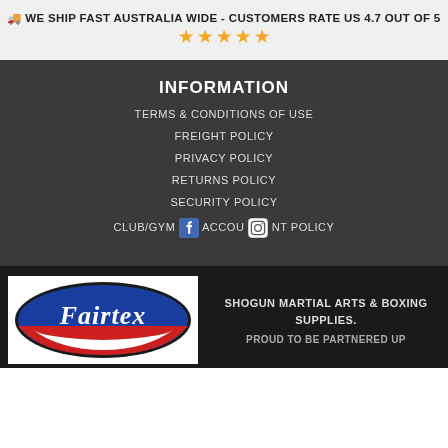🚚 WE SHIP FAST AUSTRALIA WIDE - CUSTOMERS RATE US 4.7 OUT OF 5 ★★★★★
INFORMATION
TERMS & CONDITIONS OF USE
FREIGHT POLICY
PRIVACY POLICY
RETURNS POLICY
SECURITY POLICY
CLUB/GYM ACCOUNT POLICY
[Figure (logo): Fairtex logo - oval shaped logo with red and blue colors and cursive Fairtex text]
SHOGUN MARTIAL ARTS & BOXING SUPPLIES. PROUD TO BE PARTNERED UP